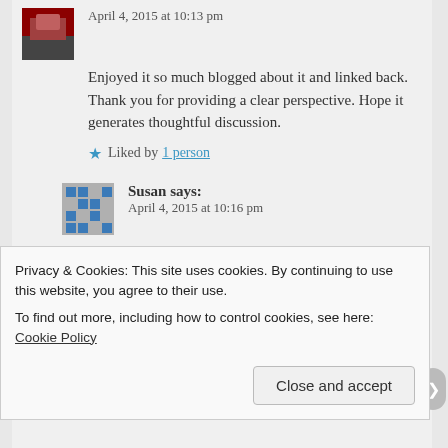April 4, 2015 at 10:13 pm
Enjoyed it so much blogged about it and linked back. Thank you for providing a clear perspective. Hope it generates thoughtful discussion.
Liked by 1 person
Susan says:
April 4, 2015 at 10:16 pm
YES! YES! A million times yes! (And I say this as a commercial baker)
Liked by 1 person
Privacy & Cookies: This site uses cookies. By continuing to use this website, you agree to their use.
To find out more, including how to control cookies, see here: Cookie Policy
Close and accept